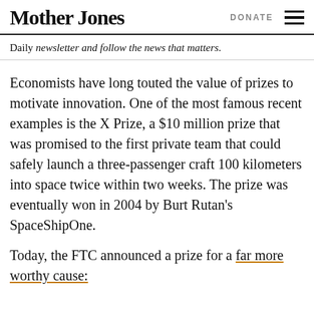Mother Jones | DONATE
Daily newsletter and follow the news that matters.
Economists have long touted the value of prizes to motivate innovation. One of the most famous recent examples is the X Prize, a $10 million prize that was promised to the first private team that could safely launch a three-passenger craft 100 kilometers into space twice within two weeks. The prize was eventually won in 2004 by Burt Rutan's SpaceShipOne.
Today, the FTC announced a prize for a far more worthy cause: